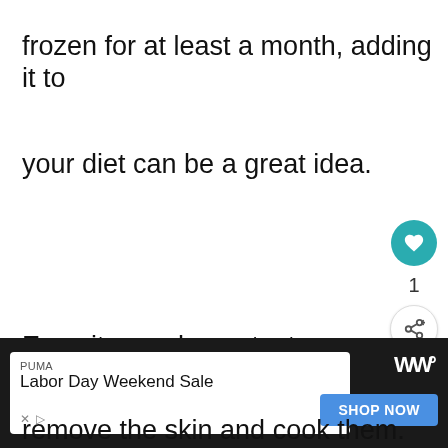frozen for at least a month, adding it to
your diet can be a great idea.
Even its seeds are tasty once you
remove the skin and cook them.
[Figure (screenshot): Web UI sidebar with heart icon (teal circle), count of 1, and share button]
[Figure (screenshot): What's Next panel with thumbnail image and text 'Can You Freeze Key...']
[Figure (screenshot): Advertisement bar at bottom: PUMA Labor Day Weekend Sale with SHOP NOW button]